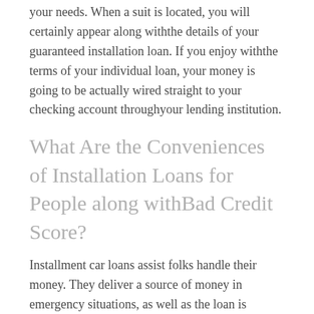your needs. When a suit is located, you will certainly appear along withthe details of your guaranteed installation loan. If you enjoy withthe terms of your individual loan, your money is going to be actually wired straight to your checking account throughyour lending institution.
What Are the Conveniences of Installation Loans for People along withBad Credit Score?
Installment car loans assist folks handle their money. They deliver a source of money in emergency situations, as well as the loan is actually repaid in easy to deal withinstallments. Anybody may apply for a no credit scores examination guaranteed loan approval, also you possess an inadequate credit rating. The